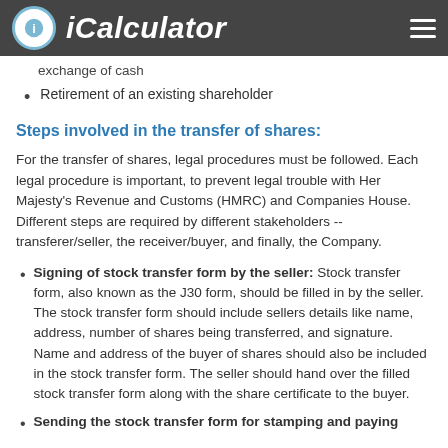iCalculator
exchange of cash
Retirement of an existing shareholder
Steps involved in the transfer of shares:
For the transfer of shares, legal procedures must be followed. Each legal procedure is important, to prevent legal trouble with Her Majesty's Revenue and Customs (HMRC) and Companies House. Different steps are required by different stakeholders -- transferer/seller, the receiver/buyer, and finally, the Company.
Signing of stock transfer form by the seller: Stock transfer form, also known as the J30 form, should be filled in by the seller. The stock transfer form should include sellers details like name, address, number of shares being transferred, and signature. Name and address of the buyer of shares should also be included in the stock transfer form. The seller should hand over the filled stock transfer form along with the share certificate to the buyer.
Sending the stock transfer form for stamping and paying